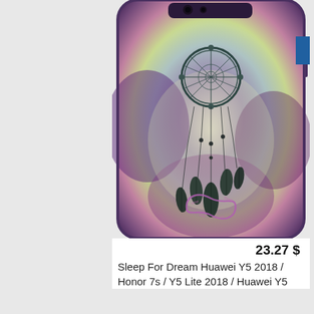[Figure (photo): A smartphone (Huawei Y5 2018) in a protective case featuring a dreamcatcher design with feathers hanging down and an infinity symbol at the bottom, against a colorful purple/teal/yellow galaxy background.]
23.27 $
Sleep For Dream Huawei Y5 2018 / Honor 7s / Y5 Lite 2018 / Huawei Y5